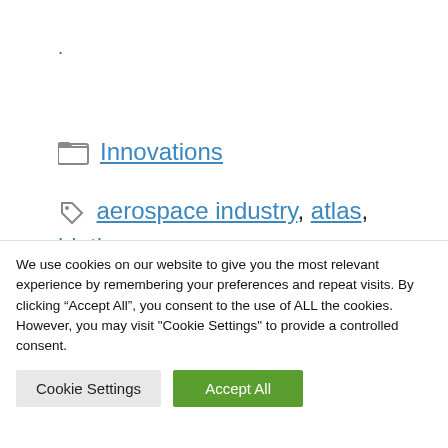.
Innovations
aerospace industry, atlas, bigtime, business, Camille, Commerce, company, economy, Hoisington, Industry, Innovation, Michigan, Mike Carey, northern awards, Smalltown, startups
We use cookies on our website to give you the most relevant experience by remembering your preferences and repeat visits. By clicking “Accept All”, you consent to the use of ALL the cookies. However, you may visit "Cookie Settings" to provide a controlled consent.